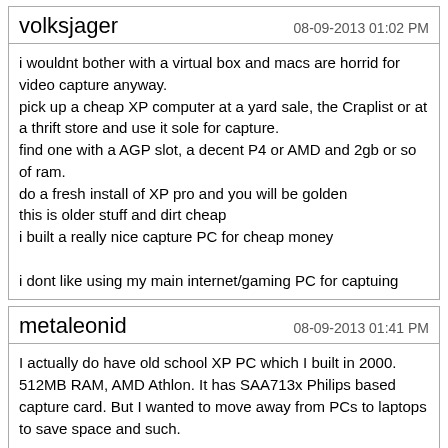volksjager — 08-09-2013 01:02 PM
i wouldnt bother with a virtual box and macs are horrid for video capture anyway.
pick up a cheap XP computer at a yard sale, the Craplist or at a thrift store and use it sole for capture.
find one with a AGP slot, a decent P4 or AMD and 2gb or so of ram.
do a fresh install of XP pro and you will be golden
this is older stuff and dirt cheap
i built a really nice capture PC for cheap money

i dont like using my main internet/gaming PC for captuing
metaleonid — 08-09-2013 01:41 PM
I actually do have old school XP PC which I built in 2000. 512MB RAM, AMD Athlon. It has SAA713x Philips based capture card. But I wanted to move away from PCs to laptops to save space and such.

The question I have is that is there anyone out there did actually use ATI USB 600 with VirtualDub?
kpmedia — 08-11-2013 12:29 AM
Quote: